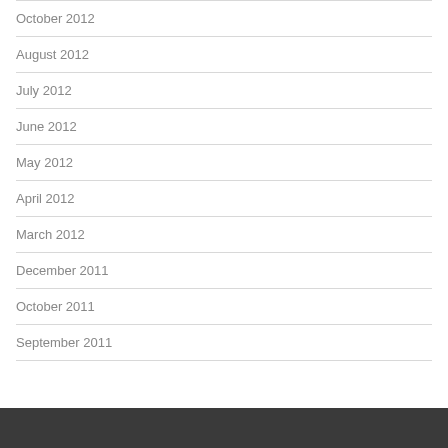October 2012
August 2012
July 2012
June 2012
May 2012
April 2012
March 2012
December 2011
October 2011
September 2011